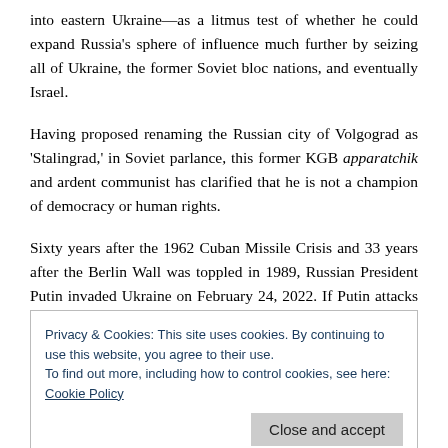into eastern Ukraine—as a litmus test of whether he could expand Russia's sphere of influence much further by seizing all of Ukraine, the former Soviet bloc nations, and eventually Israel.
Having proposed renaming the Russian city of Volgograd as 'Stalingrad,' in Soviet parlance, this former KGB apparatchik and ardent communist has clarified that he is not a champion of democracy or human rights.
Sixty years after the 1962 Cuban Missile Crisis and 33 years after the Berlin Wall was toppled in 1989, Russian President Putin invaded Ukraine on February 24, 2022. If Putin attacks any NATO members—including Poland and the Baltic states
Privacy & Cookies: This site uses cookies. By continuing to use this website, you agree to their use.
To find out more, including how to control cookies, see here: Cookie Policy
Arab Spring, have made what was previously unthinkable